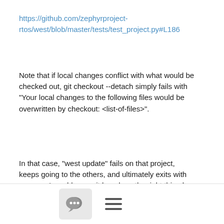https://github.com/zephyrproject-rtos/west/blob/master/tests/test_project.py#L186
Note that if local changes conflict with what would be checked out, git checkout --detach simply fails with "Your local changes to the following files would be overwritten by checkout: <list-of-files>".
In that case, "west update" fails on that project, keeps going to the others, and ultimately exits with an error. I would argue it has done the right thing by leaving your code alone in the problematic project, while trying to do its job everywhere it can.
When that happens, "west update" also prints an error at the very
[Figure (other): Bottom navigation bar with a chat bubble icon button and a hamburger menu icon]